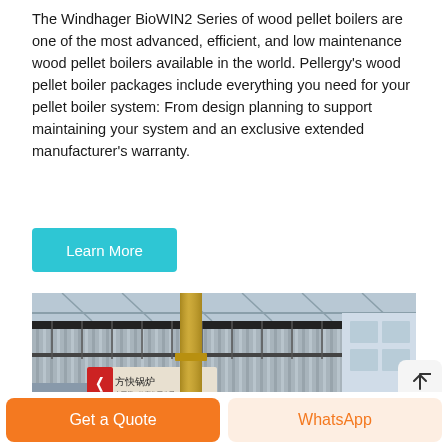The Windhager BioWIN2 Series of wood pellet boilers are one of the most advanced, efficient, and low maintenance wood pellet boilers available in the world. Pellergy's wood pellet boiler packages include everything you need for your pellet boiler system: From design planning to support maintaining your system and an exclusive extended manufacturer's warranty.
[Figure (other): Blue-cyan colored 'Learn More' button]
[Figure (photo): Industrial boiler equipment in a factory — a large corrugated-metal industrial boiler with yellow piping and a red Chinese logo sign reading 方快锅炉, inside a warehouse facility.]
[Figure (other): Scroll-to-top button with upward arrow icon]
Get a Quote
WhatsApp